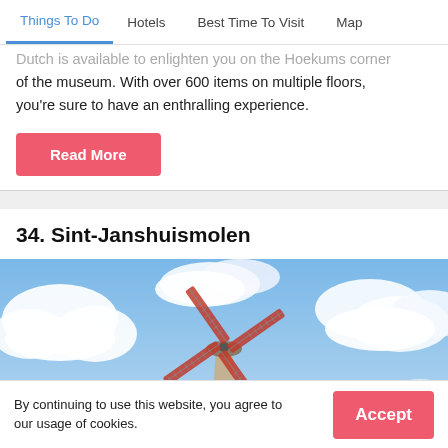Things To Do | Hotels | Best Time To Visit | Map
Dutch is available to enlighten you on the Hoekums corner of the museum. With over 600 items on multiple floors, you're sure to have an enthralling experience.
Read More
34. Sint-Janshuismolen
[Figure (photo): A Dutch windmill photographed from below against a blue sky with white clouds. The windmill sails are wooden and metal latticed, coloured in red-brown tones.]
By continuing to use this website, you agree to our usage of cookies.